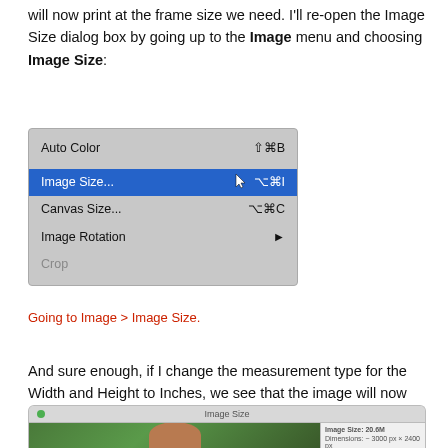will now print at the frame size we need. I'll re-open the Image Size dialog box by going up to the Image menu and choosing Image Size:
[Figure (screenshot): Photoshop Image menu showing Auto Color, Image Size... (highlighted in blue), Canvas Size..., Image Rotation, and Crop items with keyboard shortcuts]
Going to Image > Image Size.
And sure enough, if I change the measurement type for the Width and Height to Inches, we see that the image will now print at exactly 10 inches wide and 8 inches tall, at a resolution of 300 pixels/inch, which means it will now fit perfectly and look great in an 8" by 10" frame:
[Figure (screenshot): Image Size dialog box showing image size 20.6M, dimensions 3000px x 2400px]